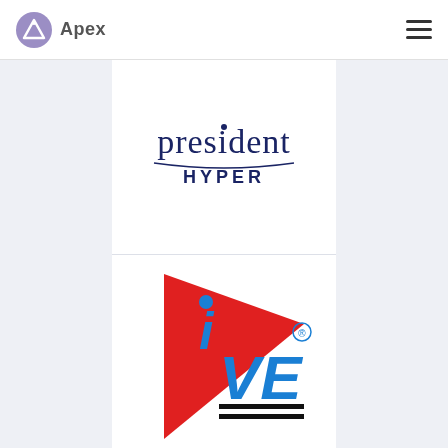[Figure (logo): Apex logo: purple shield/arrow icon with 'Apex' text in gray]
[Figure (logo): Hamburger menu icon (three horizontal lines)]
[Figure (logo): President HYPER logo in dark navy blue text with curved underline]
[Figure (logo): IVE logo: colorful red and blue stylized letters with registered trademark symbol]